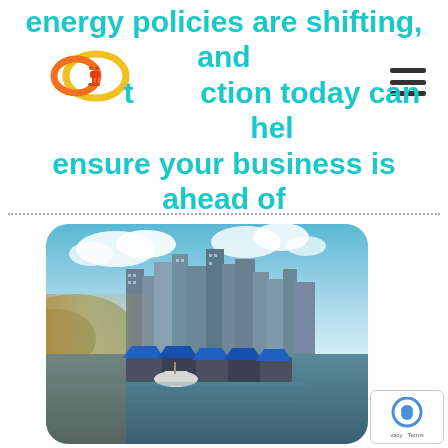energy policies are shifting, and taking action today can help ensure your business is ahead of the curve.
[Figure (logo): Circular logo with orange and yellow interlocking rings with an electrical plug icon]
[Figure (photo): City skyline with tall glass skyscrapers reflected in water, with blue-roofed floating structures in the foreground and a blue sky with clouds above, taken in golden hour light.]